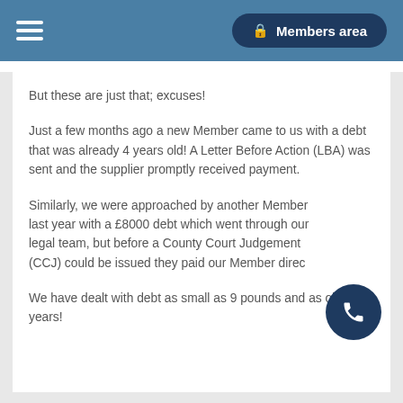Members area
But these are just that; excuses!
Just a few months ago a new Member came to us with a debt that was already 4 years old! A Letter Before Action (LBA) was sent and the supplier promptly received payment.
Similarly, we were approached by another Member last year with a £8000 debt which went through our legal team, but before a County Court Judgement (CCJ) could be issued they paid our Member direc…
We have dealt with debt as small as 9 pounds and as old as 9 years!